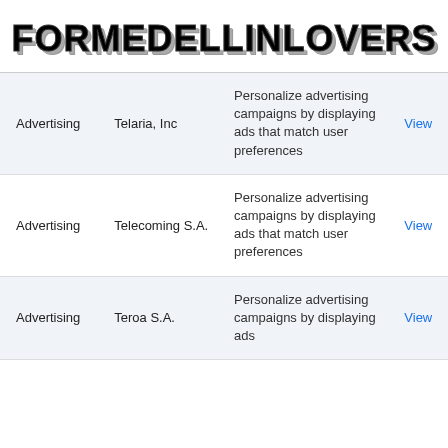FORMEDELLINLOVERS
| Category | Name | Description | Link |
| --- | --- | --- | --- |
| Advertising | Telaria, Inc | Personalize advertising campaigns by displaying ads that match user preferences | View |
| Advertising | Telecoming S.A. | Personalize advertising campaigns by displaying ads that match user preferences | View |
| Advertising | Teroa S.A. | Personalize advertising campaigns by displaying ads | View |